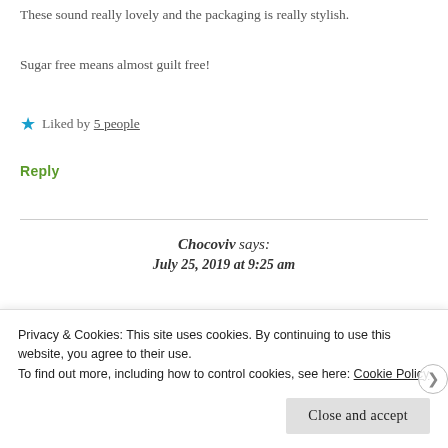These sound really lovely and the packaging is really stylish.
Sugar free means almost guilt free!
★ Liked by 5 people
Reply
Chocoviv says:
July 25, 2019 at 9:25 am
Privacy & Cookies: This site uses cookies. By continuing to use this website, you agree to their use.
To find out more, including how to control cookies, see here: Cookie Policy
Close and accept